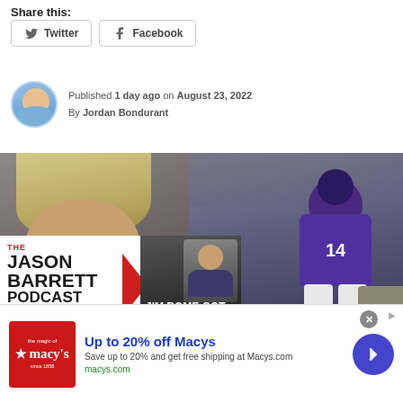Share this:
Twitter  Facebook
Published 1 day ago on August 23, 2022
By Jordan Bondurant
[Figure (photo): Left: close-up of a blonde man with glasses looking down; Right: NFL player #14 in purple Minnesota Vikings uniform catching a football]
[Figure (screenshot): Popup advertisement overlay: The Jason Barrett Podcast logo on the left, Jim Rome Got New Playbook text on the right with man in suit]
[Figure (other): Macy's advertisement banner: Up to 20% off Macys. Save up to 20% and get free shipping at Macys.com. macys.com]